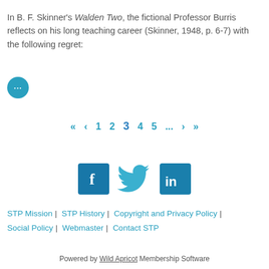In B. F. Skinner's Walden Two, the fictional Professor Burris reflects on his long teaching career (Skinner, 1948, p. 6-7) with the following regret:
[Figure (other): Teal circular button with three dots (ellipsis) indicating expandable content]
« ‹ 1 2 3 4 5 ... › »
[Figure (other): Social media icons: Facebook (blue square with f), Twitter (light blue bird), LinkedIn (blue square with in)]
STP Mission | STP History | Copyright and Privacy Policy | Social Policy | Webmaster | Contact STP
Powered by Wild Apricot Membership Software